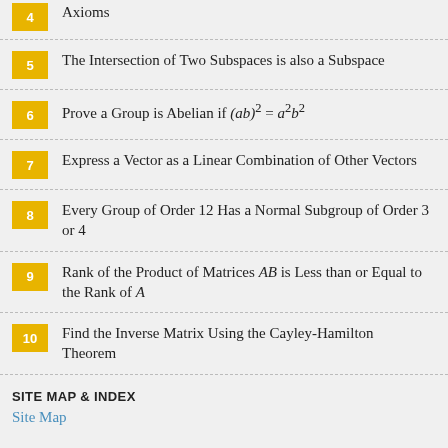4 Axioms
5 The Intersection of Two Subspaces is also a Subspace
6 Prove a Group is Abelian if (ab)^2 = a^2b^2
7 Express a Vector as a Linear Combination of Other Vectors
8 Every Group of Order 12 Has a Normal Subgroup of Order 3 or 4
9 Rank of the Product of Matrices AB is Less than or Equal to the Rank of A
10 Find the Inverse Matrix Using the Cayley-Hamilton Theorem
SITE MAP & INDEX
Site Map